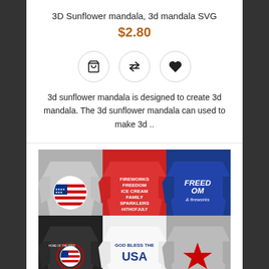3D Sunflower mandala, 3d mandala SVG
$2.80
[Figure (other): Three circular button icons: shopping cart, compare arrows, and heart/wishlist]
3d sunflower mandala is designed to create 3d mandala. The 3d sunflower mandala can used to make 3d ..
[Figure (photo): Six patriotic 4th of July t-shirts displayed: gray shirt with American flag sunflower, red shirt with fireworks/freedom/ice cream/family/sparklers/#4thofJuly text, blue shirt with FREEDOM & fireworks text, black shirt with HOME OF THE FREE and American flag sunflower, white shirt with GOD BLESS THE USA text, gray shirt with red star]